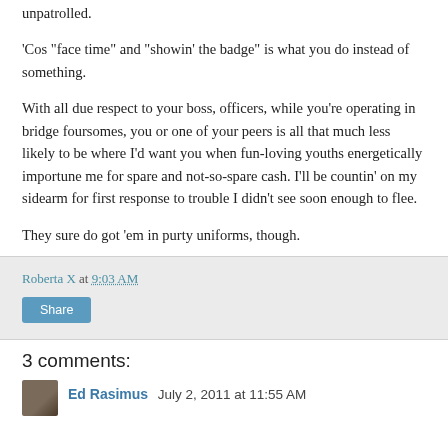unpatrolled.
'Cos "face time" and "showin' the badge" is what you do instead of something.
With all due respect to your boss, officers, while you're operating in bridge foursomes, you or one of your peers is all that much less likely to be where I'd want you when fun-loving youths energetically importune me for spare and not-so-spare cash. I'll be countin' on my sidearm for first response to trouble I didn't see soon enough to flee.
They sure do got 'em in purty uniforms, though.
Roberta X at 9:03 AM
Share
3 comments:
Ed Rasimus  July 2, 2011 at 11:55 AM